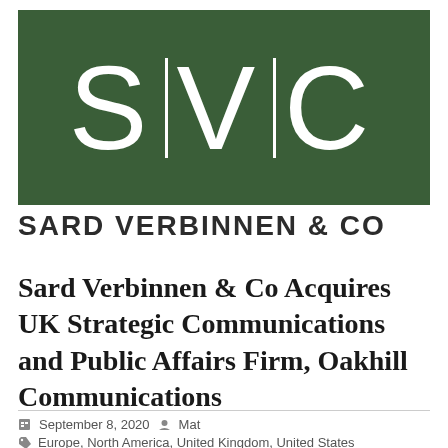[Figure (logo): SVC (S|V|C) logo — dark green rectangle with white letters S, V, C separated by vertical white bars]
SARD VERBINNEN & CO
Sard Verbinnen & Co Acquires UK Strategic Communications and Public Affairs Firm, Oakhill Communications
September 8, 2020   Mat
Europe, North America, United Kingdom, United States